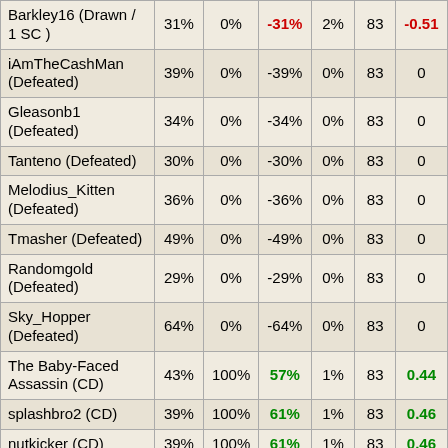| Player | Col1 | Col2 | Col3 | Col4 | Col5 | Col6 |
| --- | --- | --- | --- | --- | --- | --- |
| Barkley16 (Drawn / 1 SC ) | 31% | 0% | -31% | 2% | 83 | -0.51 |
| iAmTheCashMan (Defeated) | 39% | 0% | -39% | 0% | 83 | 0 |
| Gleasonb1 (Defeated) | 34% | 0% | -34% | 0% | 83 | 0 |
| Tanteno (Defeated) | 30% | 0% | -30% | 0% | 83 | 0 |
| Melodius_Kitten (Defeated) | 36% | 0% | -36% | 0% | 83 | 0 |
| Tmasher (Defeated) | 49% | 0% | -49% | 0% | 83 | 0 |
| Randomgold (Defeated) | 29% | 0% | -29% | 0% | 83 | 0 |
| Sky_Hopper (Defeated) | 64% | 0% | -64% | 0% | 83 | 0 |
| The Baby-Faced Assassin (CD) | 43% | 100% | 57% | 1% | 83 | 0.44 |
| splashbro2 (CD) | 39% | 100% | 61% | 1% | 83 | 0.46 |
| nutkicker (CD) | 39% | 100% | 61% | 1% | 83 | 0.46 |
| BiggleBobb (CD) | 45% | 100% | 55% | 1% | 83 | 0.42 |
| Peter the great (CD) | 47% | 100% | 53% | 1% | 83 | 0.4 |